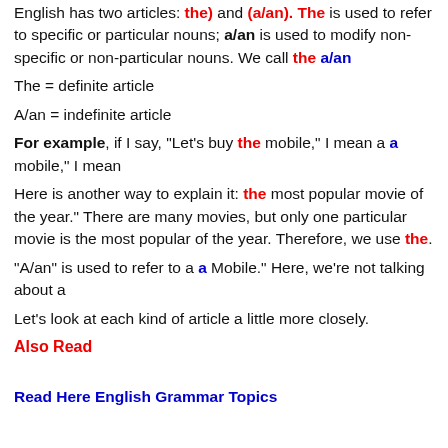English has two articles: the) and (a/an). The is used to refer to specific or particular nouns; a/an is used to modify non-specific or non-particular nouns. We call the a/an
The = definite article
A/an = indefinite article
For example, if I say, "Let's buy the mobile," I mean a a mobile," I mean
Here is another way to explain it: the most popular movie of the year." There are many movies, but only one particular movie is the most popular of the year. Therefore, we use the.
"A/an" is used to refer to a a Mobile." Here, we're not talking about a
Let's look at each kind of article a little more closely.
Also Read
Read Here English Grammar Topics